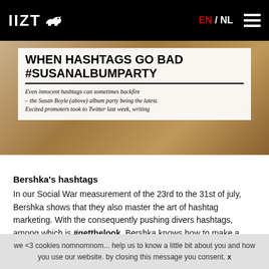IIZT EN / NL
[Figure (screenshot): Newspaper clipping image showing headline 'WHEN HASHTAGS GO BAD #SUSANALBUMPARTY' with subtext about Susan Boyle album party hashtag backfiring on Twitter]
Bershka’s hashtags
In our Social War measurement of the 23rd to the 31st of july, Bershka shows that they also master the art of hashtag marketing. With the consequently pushing divers hashtags, among which is #getthelook, Bershka knows how to make a connection between their different social media channels. In the measured week it brings them an Facebook engagement increase of +148%
we <3 cookies nomnomnom... help us to know a little bit about you and how you use our website. by closing this message you consent. x